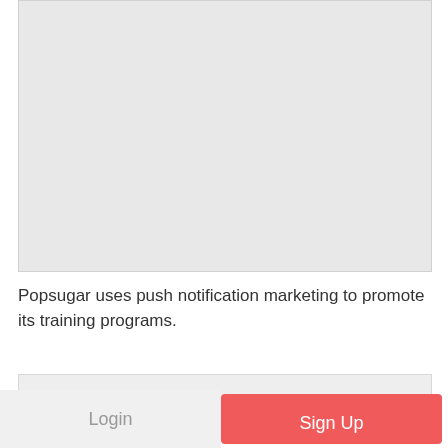[Figure (other): Large light gray placeholder image area]
Popsugar uses push notification marketing to promote its training programs.
[Figure (other): Small light gray placeholder bar]
Login
Sign Up